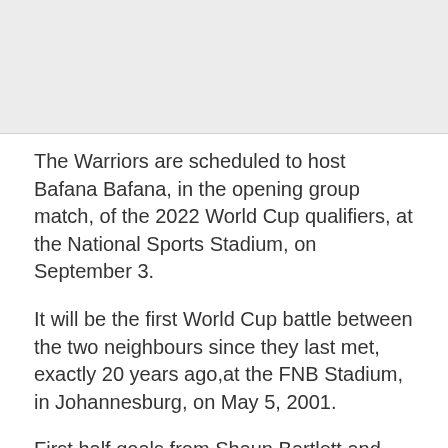[Figure (photo): Gray placeholder image area at top of page]
The Warriors are scheduled to host Bafana Bafana, in the opening group match, of the 2022 World Cup qualifiers, at the National Sports Stadium, on September 3.
It will be the first World Cup battle between the two neighbours since they last met, exactly 20 years ago,at the FNB Stadium, in Johannesburg, on May 5, 2001.
First half goals from Shaun Bartlett and Benni